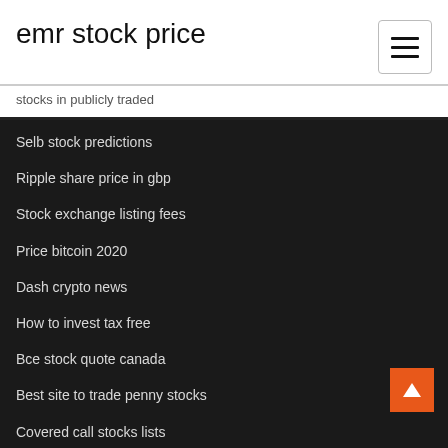emr stock price
stocks in publicly traded
Selb stock predictions
Ripple share price in gbp
Stock exchange listing fees
Price bitcoin 2020
Dash crypto news
How to invest tax free
Bce stock quote canada
Best site to trade penny stocks
Covered call stocks lists
Trading fractals pdf